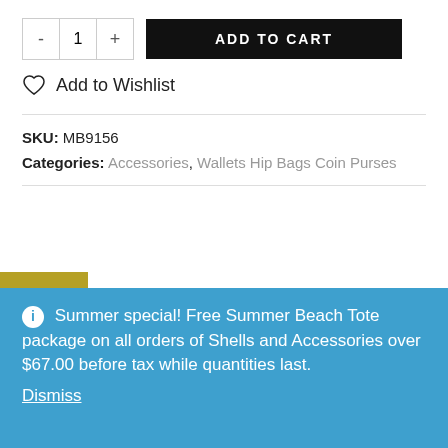- 1 + ADD TO CART
Add to Wishlist
SKU: MB9156
Categories: Accessories, Wallets Hip Bags Coin Purses
CAD
DESCRIPTION
Summer special! Free Summer Beach Tote package on all orders of Shells and Accessories over $67.00 before tax while quantities last.
Dismiss